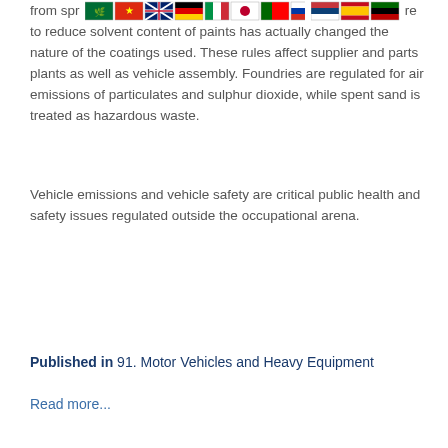[Figure (other): Row of country flags: Saudi Arabia, China, UK, Germany, Italy, Japan, Portugal, Russia, Serbia, Spain, Kenya]
from spr... ...re to reduce solvent content of paints has actually changed the nature of the coatings used. These rules affect supplier and parts plants as well as vehicle assembly. Foundries are regulated for air emissions of particulates and sulphur dioxide, while spent sand is treated as hazardous waste.
Vehicle emissions and vehicle safety are critical public health and safety issues regulated outside the occupational arena.
Back
Published in  91. Motor Vehicles and Heavy Equipment
Read more...